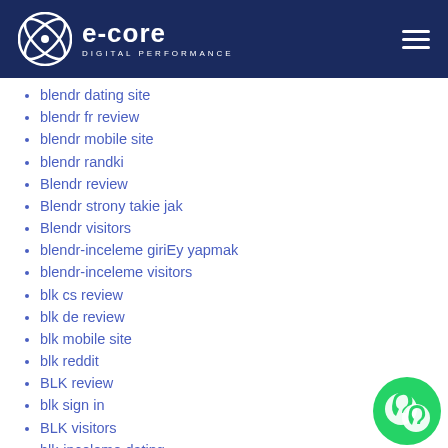e-core DIGITAL PERFORMANCE
blendr dating site
blendr fr review
blendr mobile site
blendr randki
Blendr review
Blendr strony takie jak
Blendr visitors
blendr-inceleme giriEy yapmak
blendr-inceleme visitors
blk cs review
blk de review
blk mobile site
blk reddit
BLK review
blk sign in
BLK visitors
blk-inceleme dating
blk-inceleme visitors
blk-overzicht MOBILE
blog
bloomington USA review
[Figure (illustration): WhatsApp chat bubble icon (green circular button with phone/chat icon)]